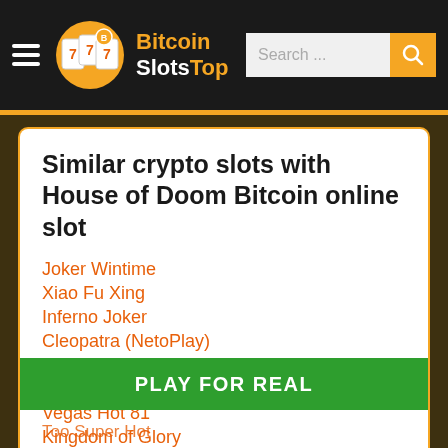Bitcoin SlotsTop
Similar crypto slots with House of Doom Bitcoin online slot
Joker Wintime
Xiao Fu Xing
Inferno Joker
Cleopatra (NetoPlay)
Secret Admirer
Scruffy Scallywags
Vegas Hot 81
Kingdom of Glory
Double Tigers
Henry VIII
Wild Melon
PLAY FOR REAL
Too Super Hot